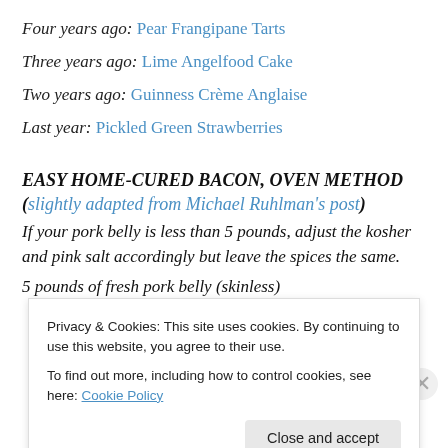Four years ago: Pear Frangipane Tarts
Three years ago: Lime Angelfood Cake
Two years ago: Guinness Crème Anglaise
Last year: Pickled Green Strawberries
EASY HOME-CURED BACON, OVEN METHOD (slightly adapted from Michael Ruhlman's post)
If your pork belly is less than 5 pounds, adjust the kosher and pink salt accordingly but leave the spices the same.
5 pounds of fresh pork belly (skinless)
Privacy & Cookies: This site uses cookies. By continuing to use this website, you agree to their use.
To find out more, including how to control cookies, see here: Cookie Policy